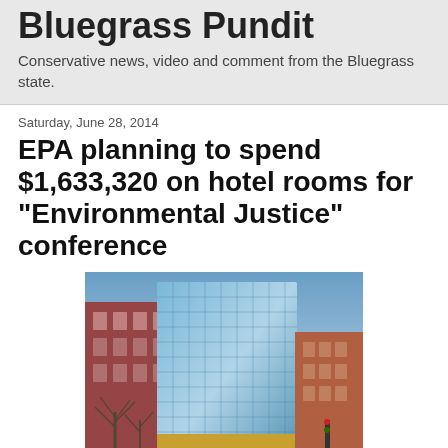Bluegrass Pundit
Conservative news, video and comment from the Bluegrass state.
Saturday, June 28, 2014
EPA planning to spend $1,633,320 on hotel rooms for “Environmental Justice” conference
[Figure (photo): Exterior photo of a modern high-rise hotel building with glass facade, taken at dusk/twilight with blue sky and bare trees in the foreground.]
The benefit to the taxpayers of this conference is??? If the Republicans in Congress had any spine, they would cut EPA, the IRS and other agencies conference monies completely